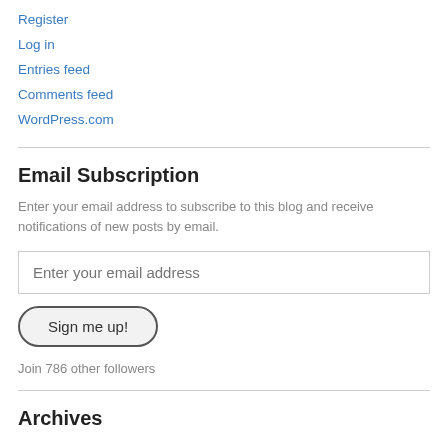Register
Log in
Entries feed
Comments feed
WordPress.com
Email Subscription
Enter your email address to subscribe to this blog and receive notifications of new posts by email.
Enter your email address
Sign me up!
Join 786 other followers
Archives